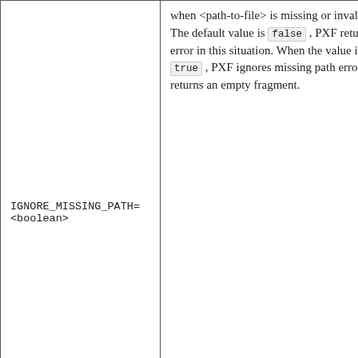| Parameter | Description |
| --- | --- |
| IGNORE_MISSING_PATH=
<boolean> | when <path-to-file> is missing or invalid. The default value is false, PXF returns an error in this situation. When the value is true, PXF ignores missing path errors and returns an empty fragment. |
| SKIP_HEADER_COUNT=
<numlines> | Specify the number of header lines that PXF should skip in the first split of each <file> before reading the data. The default value is 0, do not skip any lines. |
|  | Use FORMAT 'TEXT' when <path-to-file> references plain text... |